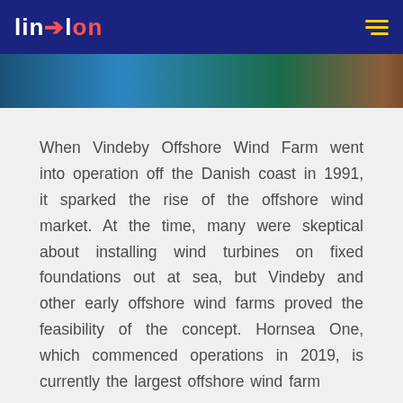linxon [logo]
[Figure (photo): Partial view of offshore wind farm or coastal scene — a narrow photographic image strip showing water, turbines, and shoreline in blue-green and brown tones]
When Vindeby Offshore Wind Farm went into operation off the Danish coast in 1991, it sparked the rise of the offshore wind market. At the time, many were skeptical about installing wind turbines on fixed foundations out at sea, but Vindeby and other early offshore wind farms proved the feasibility of the concept. Hornsea One, which commenced operations in 2019, is currently the largest offshore wind farm